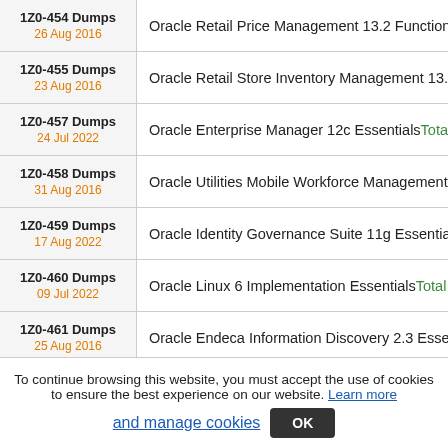| Dump ID / Date | Description |
| --- | --- |
| 1Z0-454 Dumps
26 Aug 2016 | Oracle Retail Price Management 13.2 Functional Impl… |
| 1Z0-455 Dumps
23 Aug 2016 | Oracle Retail Store Inventory Management 13.2 Funct… |
| 1Z0-457 Dumps
24 Jul 2022 | Oracle Enterprise Manager 12c Essentials Total Quest… |
| 1Z0-458 Dumps
31 Aug 2016 | Oracle Utilities Mobile Workforce Management 2 Impl… |
| 1Z0-459 Dumps
17 Aug 2022 | Oracle Identity Governance Suite 11g Essentials Total… |
| 1Z0-460 Dumps
09 Jul 2022 | Oracle Linux 6 Implementation Essentials Total Quest… |
| 1Z0-461 Dumps
25 Aug 2016 | Oracle Endeca Information Discovery 2.3 Essentials To… |
To continue browsing this website, you must accept the use of cookies to ensure the best experience on our website. Learn more and manage cookies